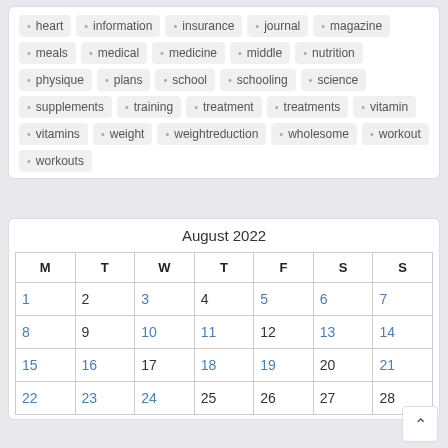heart
information
insurance
journal
magazine
meals
medical
medicine
middle
nutrition
physique
plans
school
schooling
science
supplements
training
treatment
treatments
vitamin
vitamins
weight
weightreduction
wholesome
workout
workouts
August 2022
| M | T | W | T | F | S | S |
| --- | --- | --- | --- | --- | --- | --- |
| 1 | 2 | 3 | 4 | 5 | 6 | 7 |
| 8 | 9 | 10 | 11 | 12 | 13 | 14 |
| 15 | 16 | 17 | 18 | 19 | 20 | 21 |
| 22 | 23 | 24 | 25 | 26 | 27 | 28 |